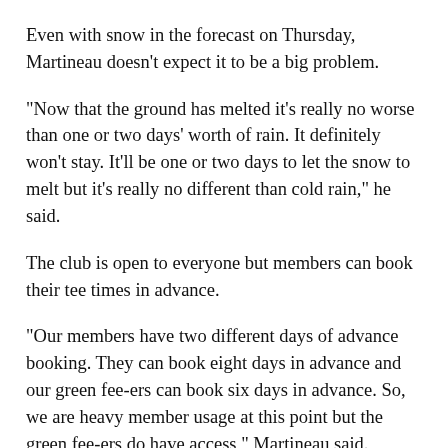Even with snow in the forecast on Thursday, Martineau doesn't expect it to be a big problem.
"Now that the ground has melted it's really no worse than one or two days' worth of rain. It definitely won't stay. It'll be one or two days to let the snow to melt but it's really no different than cold rain," he said.
The club is open to everyone but members can book their tee times in advance.
"Our members have two different days of advance booking. They can book eight days in advance and our green fee-ers can book six days in advance. So, we are heavy member usage at this point but the green fee-ers do have access," Martineau said.
For Watts, he's just happy to be out of the house.
"For the last month and a half I've done nothing, so it was